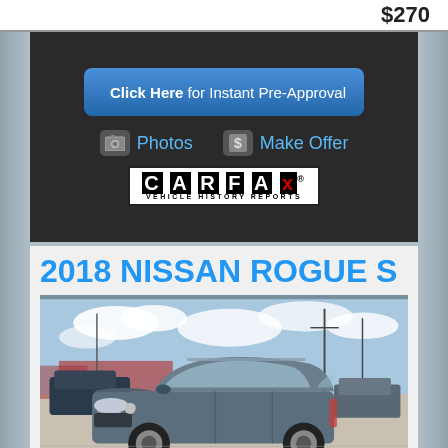$270
[Figure (screenshot): Click Here for Instant Pre-Approval button with blue gradient background and red arrow icon]
Photos   Make Offer
[Figure (logo): CARFAX Vehicle History Reports logo in black and white border box]
2018 NISSAN ROGUE S
[Figure (photo): Photo of a gray 2018 Nissan Rogue S SUV parked at a dealership lot with other cars and power lines in the background under partly cloudy sky]